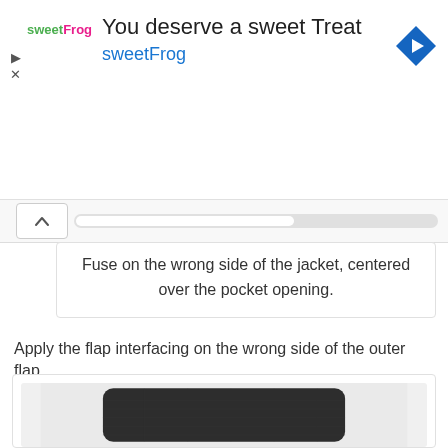[Figure (screenshot): Ad banner for sweetFrog with logo, headline 'You deserve a sweet Treat', brand name 'sweetFrog', navigation icon]
Fuse on the wrong side of the jacket, centered over the pocket opening.
Apply the flap interfacing on the wrong side of the outer flap.
[Figure (photo): A dark charcoal/dark grey fabric piece for a jacket flap interfacing, rounded at bottom corners, shown on a light grey background]